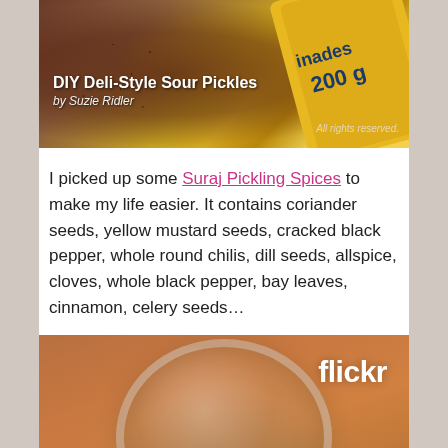[Figure (photo): Photo of pickling spices bag labeled '200g' with coriander/mustard seeds visible. Overlaid text: 'DIY Deli-Style Sour Pickles' by Suzie Ridler. 'All rights reserved.' watermark.]
I picked up some Suraj Pickling Spices to make my life easier. It contains coriander seeds, yellow mustard seeds, cracked black pepper, whole round chilis, dill seeds, allspice, cloves, whole black pepper, bay leaves, cinnamon, celery seeds…
[Figure (photo): Photo of a glass jar with mixed pickling spices inside, on a warm brown/tan background. Flickr watermark in top right.]